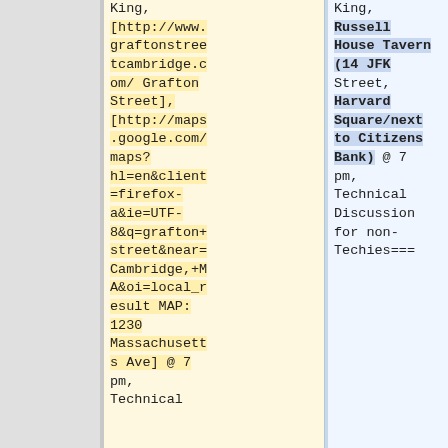King, [http://www.graftonstreetcambridge.com/ Grafton Street], [http://maps.google.com/maps?hl=en&client=firefox-a&ie=UTF-8&q=grafton+street&near=Cambridge,+MA&oi=local_result MAP: 1230 Massachusetts Ave] @ 7 pm, Technical
King, Russell House Tavern (14 JFK Street, Harvard Square/next to Citizens Bank) @ 7 pm, Technical Discussion for non-Techies===